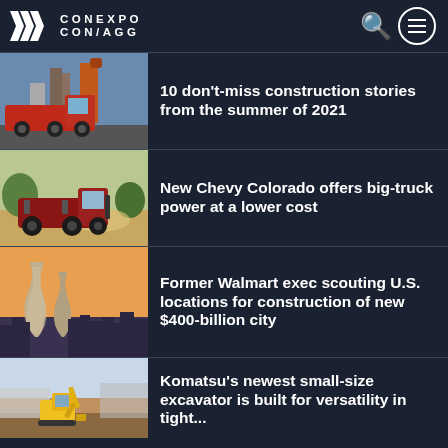CONEXPO CON/AGG
10 don't-miss construction stories from the summer of 2021
New Chevy Colorado offers big-truck power at a lower cost
Former Walmart exec scouting U.S. locations for construction of new $400-billion city
Komatsu's newest small-size excavator is built for versatility in tight spaces